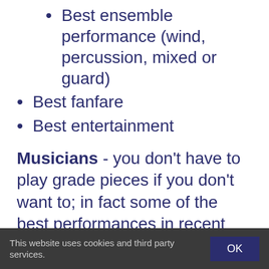Best ensemble performance (wind, percussion, mixed or guard)
Best fanfare
Best entertainment
Musicians - you don't have to play grade pieces if you don't want to; in fact some of the best performances in recent years have been songs that everyone knows and you can even use a backing track if you want to.
You don't need to perform on your band instrument – maybe you play the guitar, the bagpipes or the ukulele, maybe you tap dance or juggle – best entertainment is the
This website uses cookies and third party services.  OK